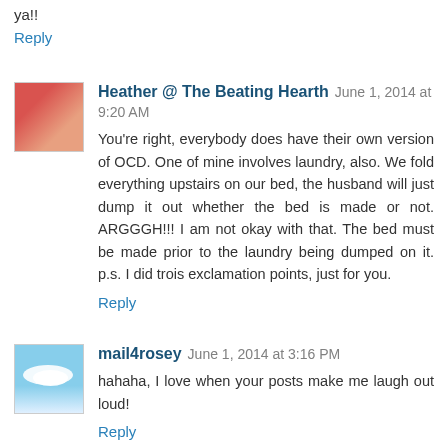ya!!
Reply
Heather @ The Beating Hearth  June 1, 2014 at 9:20 AM
You're right, everybody does have their own version of OCD. One of mine involves laundry, also. We fold everything upstairs on our bed, the husband will just dump it out whether the bed is made or not. ARGGGH!!! I am not okay with that. The bed must be made prior to the laundry being dumped on it. p.s. I did trois exclamation points, just for you.
Reply
mail4rosey  June 1, 2014 at 3:16 PM
hahaha, I love when your posts make me laugh out loud!
Reply
Stephanie C  June 1, 2014 at 4:48 PM